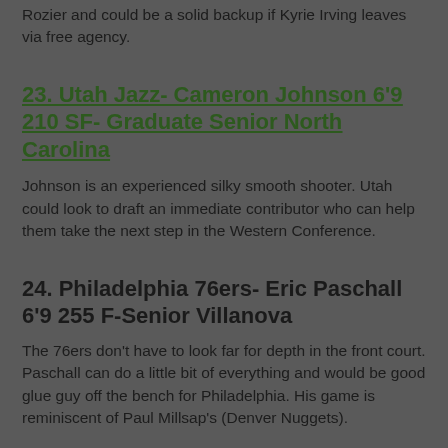Rozier and could be a solid backup if Kyrie Irving leaves via free agency.
23. Utah Jazz- Cameron Johnson 6'9 210 SF- Graduate Senior North Carolina
Johnson is an experienced silky smooth shooter. Utah could look to draft an immediate contributor who can help them take the next step in the Western Conference.
24. Philadelphia 76ers- Eric Paschall 6'9 255 F-Senior Villanova
The 76ers don't have to look far for depth in the front court. Paschall can do a little bit of everything and would be good glue guy off the bench for Philadelphia. His game is reminiscent of Paul Millsap's (Denver Nuggets).